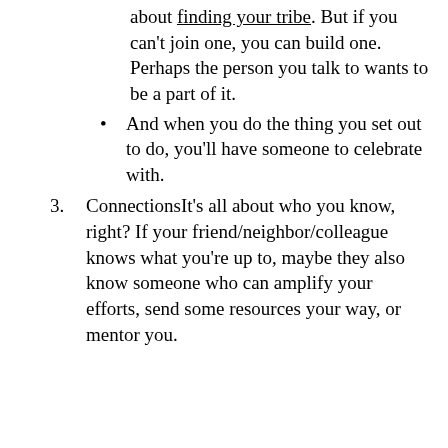about finding your tribe. But if you can't join one, you can build one. Perhaps the person you talk to wants to be a part of it.
And when you do the thing you set out to do, you'll have someone to celebrate with.
3. ConnectionsIt's all about who you know, right? If your friend/neighbor/colleague knows what you're up to, maybe they also know someone who can amplify your efforts, send some resources your way, or mentor you.